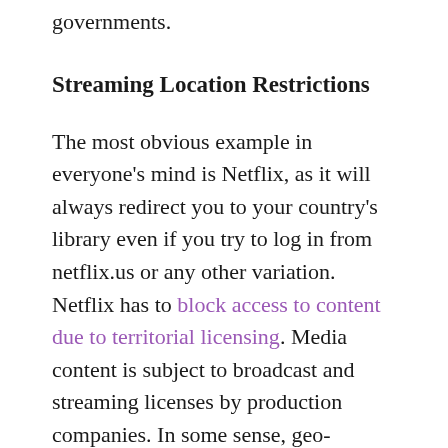governments.
Streaming Location Restrictions
The most obvious example in everyone's mind is Netflix, as it will always redirect you to your country's library even if you try to log in from netflix.us or any other variation. Netflix has to block access to content due to territorial licensing. Media content is subject to broadcast and streaming licenses by production companies. In some sense, geo-blocking is a remnant of almost half-century-old legislation, but we have no idea whether territorial licensing will change.